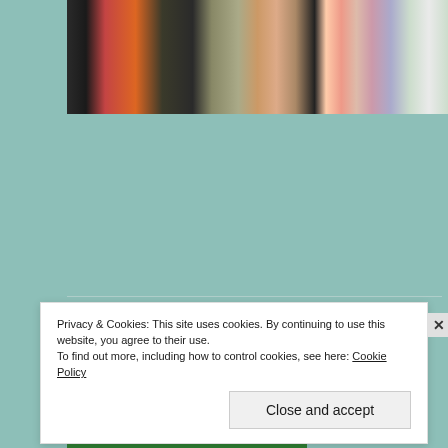[Figure (photo): Partial photo strip showing people in colorful outfits, cropped at the bottom]
Uncertain journey(s)
SEPTEMBER 30, 2016 / 3 COMMENTS
Life is a journey, and it would be very fair to say that even if I am not travelling physically, the need for
Privacy & Cookies: This site uses cookies. By continuing to use this website, you agree to their use.
To find out more, including how to control cookies, see here: Cookie Policy
Close and accept